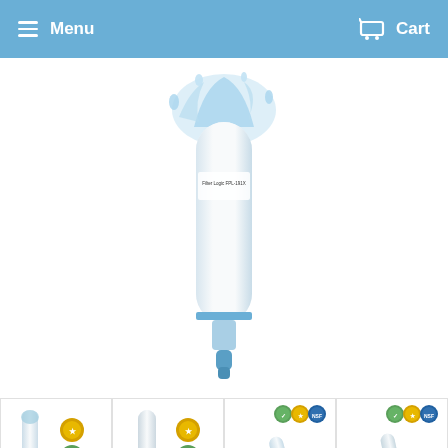Menu   Cart
[Figure (photo): Large product image of Filter Logic FPL-191X water filter cartridge with blue water splash design on white background, shown vertically with a blue connector nozzle at the bottom]
[Figure (photo): Thumbnail 1: Filter Logic water filter shown vertically with certification badges (gold, green, NSF blue circle)]
[Figure (photo): Thumbnail 2: White cylindrical water filter shown vertically with certification badges]
[Figure (photo): Thumbnail 3: Two Filter Logic water filters lying at an angle showing blue labeling and connector tips]
[Figure (photo): Thumbnail 4: Two white water filter cartridges lying at an angle with silver/white connectors]
[Figure (photo): Bottom partial thumbnail 1: Small water filter with blue connector tip pointing up]
[Figure (photo): Bottom partial thumbnail 2: Small white water filter with blue connector tip pointing up]